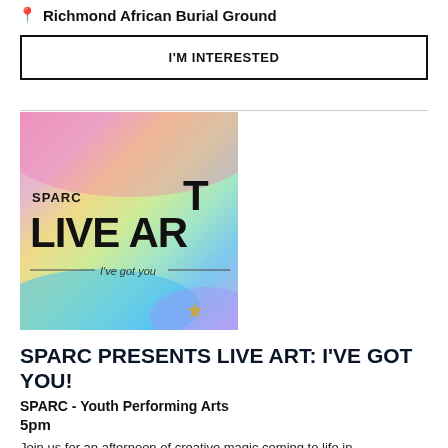Richmond African Burial Ground
I'M INTERESTED
[Figure (illustration): SPARC Live Art promotional image with rainbow watercolor background, bold text reading 'SPARC LIVE ART' with a star in the A, and tagline 'I've got you']
SPARC PRESENTS LIVE ART: I'VE GOT YOU!
SPARC - Youth Performing Arts
5pm
Join us for an afternoon of creative magic coming to life in